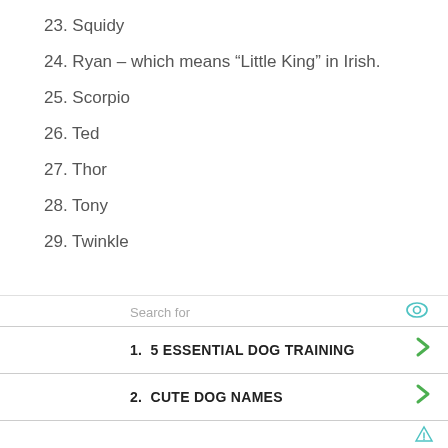23. Squidy
24. Ryan – which means “Little King” in Irish.
25. Scorpio
26. Ted
27. Thor
28. Tony
29. Twinkle
Search for
1.  5 ESSENTIAL DOG TRAINING
2.  CUTE DOG NAMES